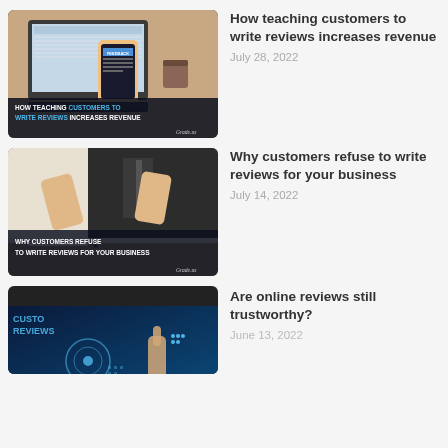[Figure (photo): Thumbnail image for blog post about teaching customers to write reviews. Shows a hand holding a phone with a feedback app near a laptop. Bottom overlay reads: HOW TEACHING CUSTOMERS TO WRITE REVIEWS INCREASES REVENUE]
How teaching customers to write reviews increases revenue
July 28, 2022
[Figure (photo): Thumbnail image for blog post about why customers refuse to write reviews. Shows a person in a suit with hands raised in refusal gesture. Bottom overlay reads: WHY CUSTOMERS REFUSE TO WRITE REVIEWS FOR YOUR BUSINESS]
Why customers refuse to write reviews for your business
July 14, 2022
[Figure (photo): Thumbnail image for blog post about online reviews. Shows a digital/tech themed background with text CUSTOMER REVIEWS. Partially visible.]
Are online reviews still trustworthy?
June 13, 2022